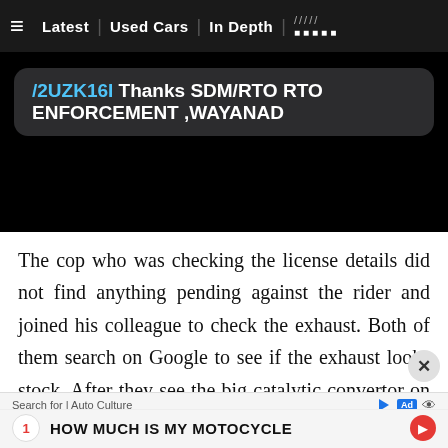Latest | Used Cars | In Depth
[Figure (screenshot): Dark video frame showing a chat bubble with text: /2UZK16I Thanks SDM/RTO RTO ENFORCEMENT ,WAYANAD]
The cop who was checking the license details did not find anything pending against the rider and joined his colleague to check the exhaust. Both of them search on Google to see if the exhaust looks stock. After they see the big catalytic convertor on the Internet, they verify the size and let the rider leave.
Search for | Auto Culture
1 HOW MUCH IS MY MOTOCYCLE